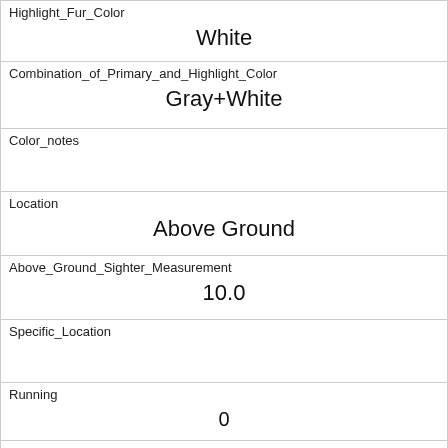| Highlight_Fur_Color | White |
| Combination_of_Primary_and_Highlight_Color | Gray+White |
| Color_notes |  |
| Location | Above Ground |
| Above_Ground_Sighter_Measurement | 10.0 |
| Specific_Location |  |
| Running | 0 |
| Chasing | 0 |
| Climbing | 1 |
| Eating | 0 |
| Foraging |  |